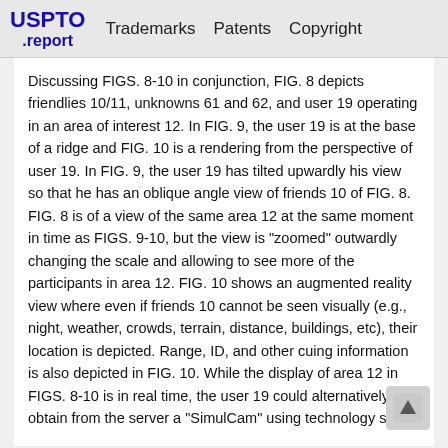USPTO .report  Trademarks  Patents  Copyright
Discussing FIGS. 8-10 in conjunction, FIG. 8 depicts friendlies 10/11, unknowns 61 and 62, and user 19 operating in an area of interest 12. In FIG. 9, the user 19 is at the base of a ridge and FIG. 10 is a rendering from the perspective of user 19. In FIG. 9, the user 19 has tilted upwardly his view so that he has an oblique angle view of friends 10 of FIG. 8. FIG. 8 is of a view of the same area 12 at the same moment in time as FIGS. 9-10, but the view is "zoomed" outwardly changing the scale and allowing to see more of the participants in area 12. FIG. 10 shows an augmented reality view where even if friends 10 cannot be seen visually (e.g., night, weather, crowds, terrain, distance, buildings, etc), their location is depicted. Range, ID, and other cuing information is also depicted in FIG. 10. While the display of area 12 in FIGS. 8-10 is in real time, the user 19 could alternatively obtain from the server a "SimulCam" using technology such